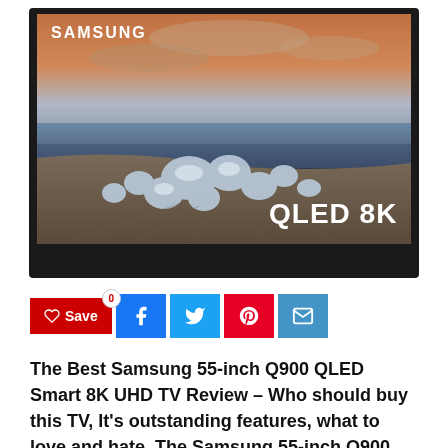[Figure (photo): Samsung QLED 8K television displaying an icy beach sunset scene with 'SAMSUNG' logo top-left and 'QLED 8K' text bottom-right]
♡ Save  0  [Facebook] [Twitter] [Pinterest] [Email]
The Best Samsung 55-inch Q900 QLED Smart 8K UHD TV Review – Who should buy this TV, It's outstanding features, what to love and hate. The Samsung 55-inch Q900 QLED Smart 8K UHD is an excellent example of the smart TV